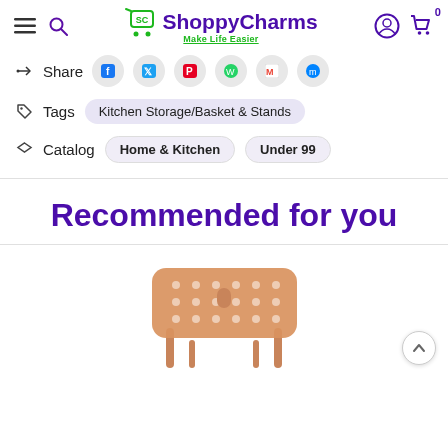ShoppyCharms - Make Life Easier
Share
Tags  Kitchen Storage/Basket & Stands
Catalog  Home & Kitchen  Under 99
Recommended for you
[Figure (photo): A plastic basket/colander with stand, copper/gold color, viewed from above at angle, product photo on white background]